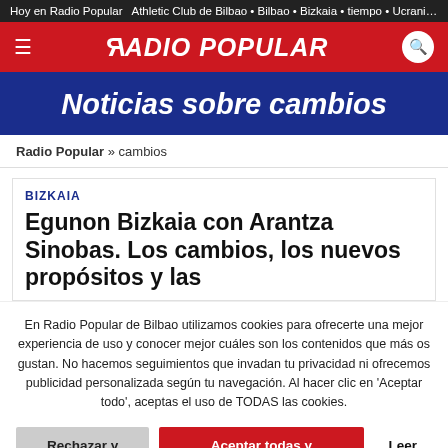Hoy en Radio Popular  Athletic Club de Bilbao • Bilbao • Bizkaia • tiempo • Ucrania | La
[Figure (logo): Radio Popular logo with mirrored R in red header bar]
Noticias sobre cambios
Radio Popular » cambios
BIZKAIA
Egunon Bizkaia con Arantza Sinobas. Los cambios, los nuevos propósitos y las
En Radio Popular de Bilbao utilizamos cookies para ofrecerte una mejor experiencia de uso y conocer mejor cuáles son los contenidos que más os gustan. No hacemos seguimientos que invadan tu privacidad ni ofrecemos publicidad personalizada según tu navegación. Al hacer clic en 'Aceptar todo', aceptas el uso de TODAS las cookies.
Rechazar y salir | Aceptar todas y continuar | Leer más